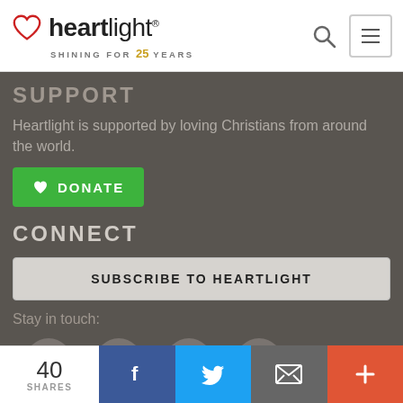[Figure (logo): Heartlight logo with heart icon and 'SHINING FOR 25 YEARS' tagline]
SUPPORT
Heartlight is supported by loving Christians from around the world.
[Figure (other): Green DONATE button with heart icon]
CONNECT
[Figure (other): SUBSCRIBE TO HEARTLIGHT button]
Stay in touch:
[Figure (other): Social media icons: Facebook, Twitter, Email, Mobile]
40 SHARES
[Figure (other): Share bar with Facebook, Twitter, Email, and plus buttons]